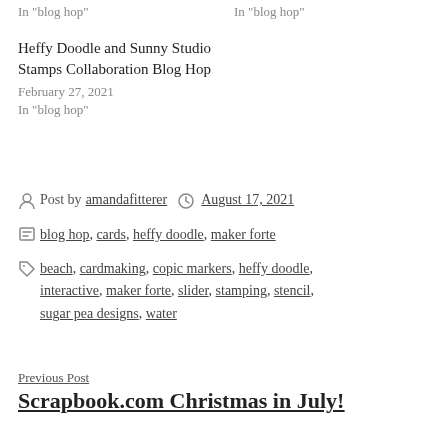In "blog hop"
In "blog hop"
Heffy Doodle and Sunny Studio Stamps Collaboration Blog Hop
February 27, 2021
In "blog hop"
Post by amandafitterer  August 17, 2021
Categories: blog hop, cards, heffy doodle, maker forte
Tags: beach, cardmaking, copic markers, heffy doodle, interactive, maker forte, slider, stamping, stencil, sugar pea designs, water
Previous Post
Scrapbook.com Christmas in July!